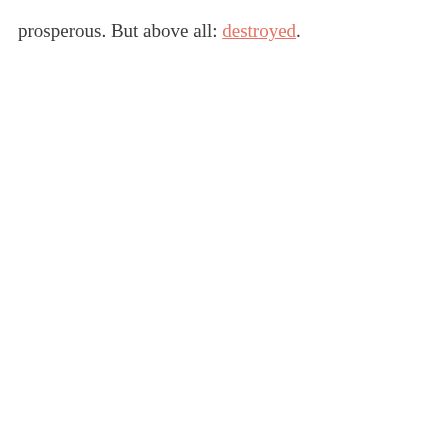prosperous. But above all: destroyed.